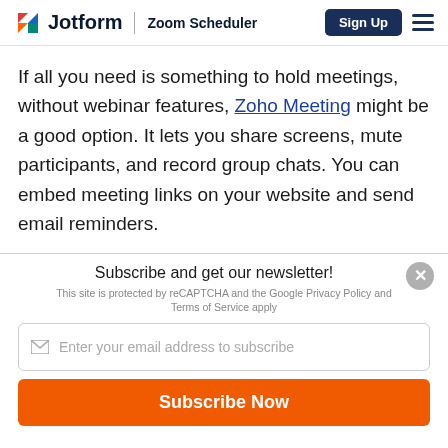Jotform | Zoom Scheduler
If all you need is something to hold meetings, without webinar features, Zoho Meeting might be a good option. It lets you share screens, mute participants, and record group chats. You can embed meeting links on your website and send email reminders.
Subscribe and get our newsletter!
This site is protected by reCAPTCHA and the Google Privacy Policy and Terms of Service apply
Enter your email address to subscribe
Subscribe Now